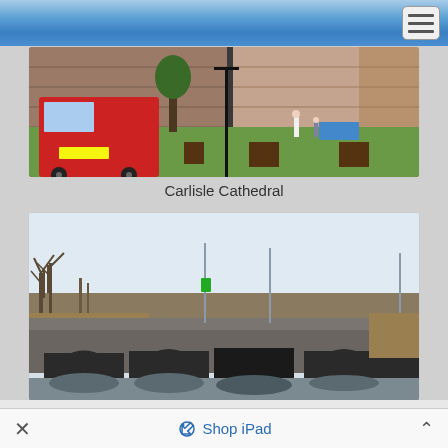Navigation bar with hamburger menu
[Figure (photo): Carlisle Cathedral photograph showing the cathedral building with red postal van parked in front, lawn and trees visible, people walking on the path]
Carlisle Cathedral
[Figure (photo): Stone bridge with multiple arches spanning a river, bare winter trees in background, taken on a grey overcast day]
✕   Shop iPad   ˄